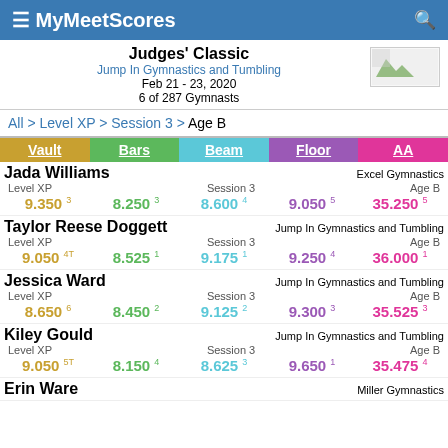MyMeetScores
Judges' Classic
Jump In Gymnastics and Tumbling
Feb 21 - 23, 2020
6 of 287 Gymnasts
All > Level XP > Session 3 > Age B
| Vault | Bars | Beam | Floor | AA |
| --- | --- | --- | --- | --- |
| Jada Williams |  |  |  | Excel Gymnastics |
| Level XP |  | Session 3 |  | Age B |
| 9.350 3 | 8.250 3 | 8.600 4 | 9.050 5 | 35.250 5 |
| Taylor Reese Doggett |  |  |  | Jump In Gymnastics and Tumbling |
| Level XP |  | Session 3 |  | Age B |
| 9.050 4T | 8.525 1 | 9.175 1 | 9.250 4 | 36.000 1 |
| Jessica Ward |  |  |  | Jump In Gymnastics and Tumbling |
| Level XP |  | Session 3 |  | Age B |
| 8.650 6 | 8.450 2 | 9.125 2 | 9.300 3 | 35.525 3 |
| Kiley Gould |  |  |  | Jump In Gymnastics and Tumbling |
| Level XP |  | Session 3 |  | Age B |
| 9.050 5T | 8.150 4 | 8.625 3 | 9.650 1 | 35.475 4 |
| Erin Ware |  |  |  | Miller Gymnastics |